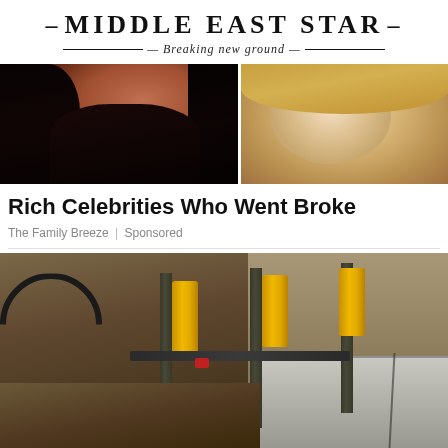—MIDDLE EAST STAR— Breaking new ground
[Figure (photo): Two women photos side by side — left: dark-haired woman in black top, right: blonde woman]
Rich Celebrities Who Went Broke
The Family Breeze | Sponsored
[Figure (photo): Construction/excavation scene showing hydraulic lifting equipment with yellow cylinders attached to a cracked foundation wall, with dirt and cables visible]